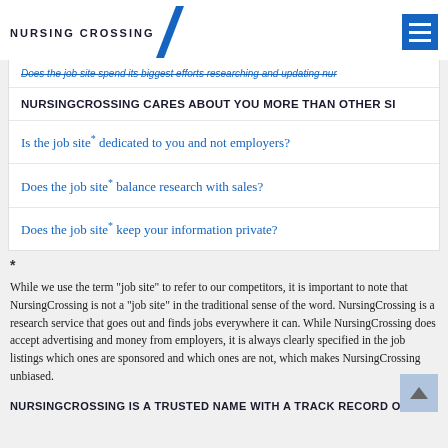NURSING CROSSING
Does the job site spend its biggest efforts researching and updating nur
NURSINGCROSSING CARES ABOUT YOU MORE THAN OTHER SI
Is the job site* dedicated to you and not employers?
Does the job site* balance research with sales?
Does the job site* keep your information private?
* While we use the term "job site" to refer to our competitors, it is important to note that NursingCrossing is not a "job site" in the traditional sense of the word. NursingCrossing is a research service that goes out and finds jobs everywhere it can. While NursingCrossing does accept advertising and money from employers, it is always clearly specified in the job listings which ones are sponsored and which ones are not, which makes NursingCrossing unbiased.
NURSINGCROSSING IS A TRUSTED NAME WITH A TRACK RECORD OF